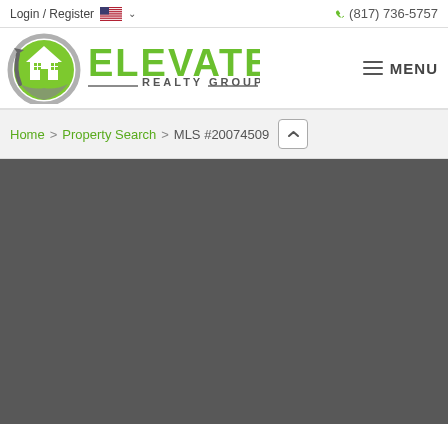Login / Register | (817) 736-5757
[Figure (logo): Elevate Realty Group logo with circular green house icon and green text]
MENU
Home > Property Search > MLS #20074509
[Figure (photo): Dark gray content area, likely a property photo loading area]